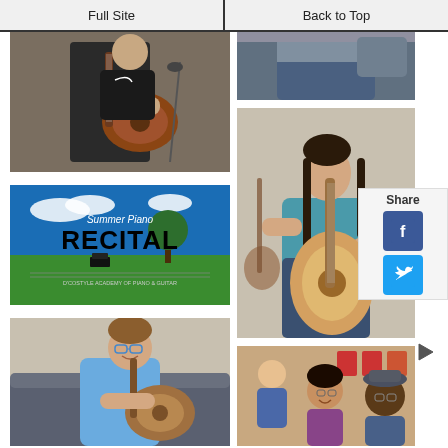Full Site | Back to Top
[Figure (photo): Teen playing electric guitar on stage with microphone stand]
[Figure (logo): Summer Piano Recital promotional image - D'Costyle Academy of Piano & Guitar]
[Figure (photo): Young boy with glasses smiling while playing acoustic guitar]
[Figure (photo): Partial torso/lower body photo of person seated]
[Figure (photo): Teen girl with long hair playing acoustic guitar while seated]
[Figure (photo): Group of people singing and laughing together at music event]